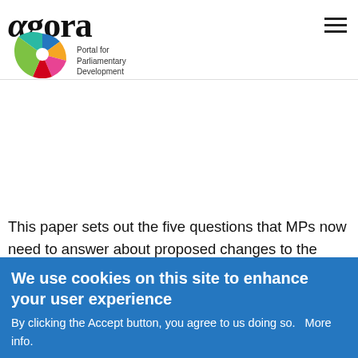agora – Portal for Parliamentary Development
scheme under which MPs can be certain about the permissibility of paid employment, and that the Commons standards system has clear grounds on which to judge potential breaches. It is also vital that the rules are comprehensible to the public, if they are to help improve the reputation of MPs.
This paper sets out the five questions that MPs now need to answer about proposed changes to the rules governing their outside interests.
Document to download
MPs' second jobs - how to draw the line.pdf
Document nature
We use cookies on this site to enhance your user experience
By clicking the Accept button, you agree to us doing so.   More info.